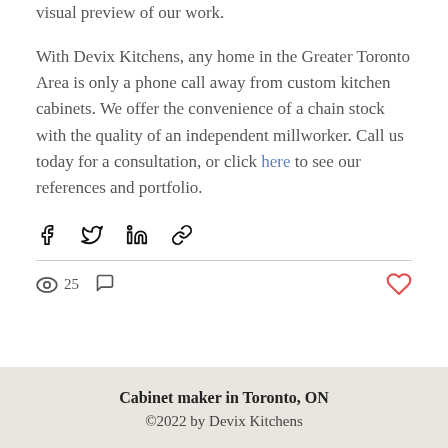visual preview of our work.
With Devix Kitchens, any home in the Greater Toronto Area is only a phone call away from custom kitchen cabinets. We offer the convenience of a chain stock with the quality of an independent millworker. Call us today for a consultation, or click here to see our references and portfolio.
[Figure (other): Social share icons: Facebook, Twitter, LinkedIn, and link/chain icon]
25 views, 0 comments, like button
Cabinet maker in Toronto, ON
©2022 by Devix Kitchens